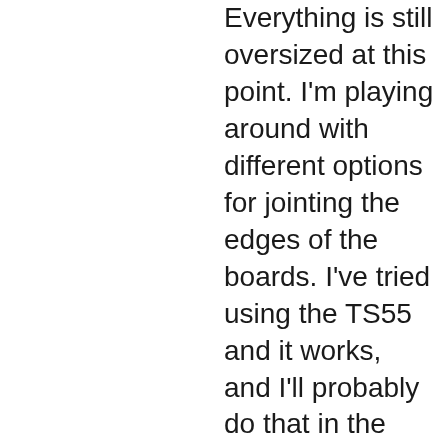Everything is still oversized at this point. I'm playing around with different options for jointing the edges of the boards. I've tried using the TS55 and it works, and I'll probably do that in the end. What I don't like about that is the boards are much narrower than the track so I have to double them up side by side to give support. It makes clamping tricky. My plan was to rip